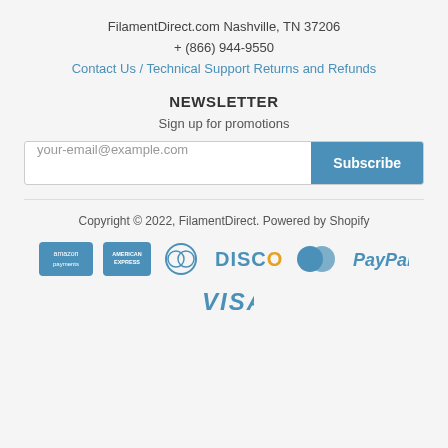FilamentDirect.com Nashville, TN 37206
+ (866) 944-9550
Contact Us / Technical Support Returns and Refunds
NEWSLETTER
Sign up for promotions
your-email@example.com  Subscribe
Copyright © 2022, FilamentDirect. Powered by Shopify
[Figure (other): Payment method icons: Amazon Payments, American Express, Diners Club, Discover, MasterCard, PayPal, Visa]